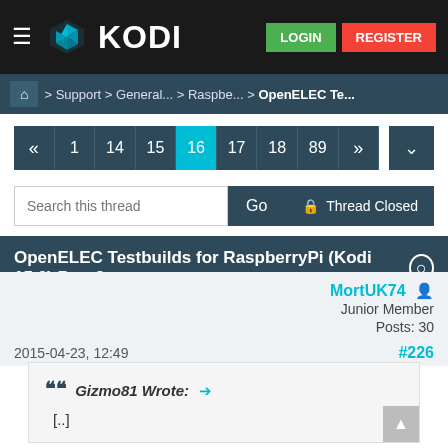KODI — LOGIN   REGISTER
Home > Support > General... > Raspbe... > OpenELEC Te...
« 1 14 15 16 17 18 89 »
Search this thread   Go   Thread Closed
OpenELEC Testbuilds for RaspberryPi (Kodi 15.0) Part 2
MortUK74
Junior Member
Posts: 30
2015-04-23, 12:49
#226
Gizmo81 Wrote:
[..]